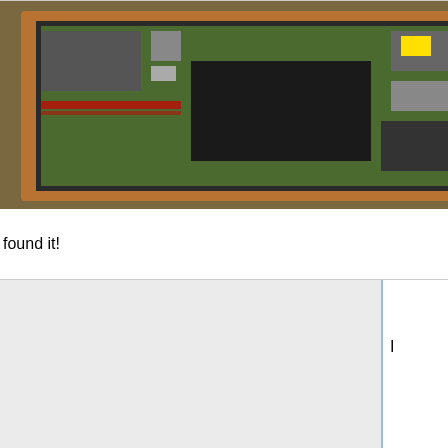[Figure (photo): Laptop motherboard internals, opened up, showing internal components]
found it!
[Figure (photo): Partial view of another component, cut off at right edge - 'under the']
under the
I
[Figure (photo): Close-up of MXIC MX 25L6445E M2I-10G flash chip on green circuit board with SOIC package]
The flash chip
recommend using SOIC clip. Depending on the flasher you use, you may have to use separate 3.3V source. Make sure not to feed more than 3.3V ot the chip. I